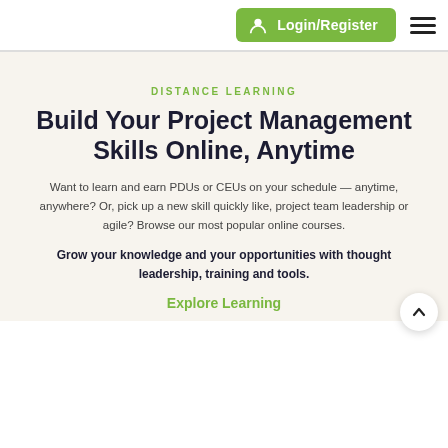Login/Register
DISTANCE LEARNING
Build Your Project Management Skills Online, Anytime
Want to learn and earn PDUs or CEUs on your schedule — anytime, anywhere? Or, pick up a new skill quickly like, project team leadership or agile? Browse our most popular online courses.
Grow your knowledge and your opportunities with thought leadership, training and tools.
Explore Learning